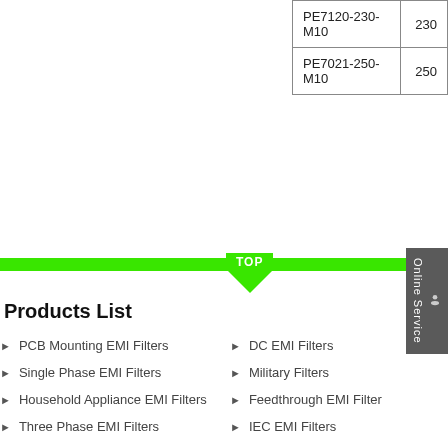| Model | Value |
| --- | --- |
| PE7120-230-M10 | 230 |
| PE7021-250-M10 | 250 |
Products List
PCB Mounting EMI Filters
Single Phase EMI Filters
Household Appliance EMI Filters
Three Phase EMI Filters
EMI Filters For Inverter
Three Phase Four Line EMI Filter
DC EMI Filters
Military Filters
Feedthrough EMI Filter
IEC EMI Filters
Shielding Facility EMI Filters
EMI Ferrite Core